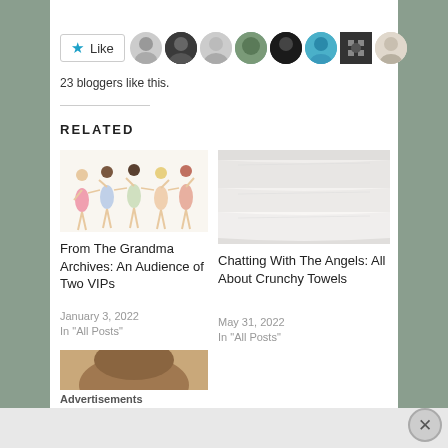[Figure (other): Like button with blue star and several blogger avatar thumbnails in a row]
23 bloggers like this.
RELATED
[Figure (illustration): Illustration of five ballerina girls holding hands in a row]
From The Grandma Archives: An Audience of Two VIPs
January 3, 2022
In "All Posts"
[Figure (photo): Photo of neatly folded white towels]
Chatting With The Angels: All About Crunchy Towels
May 31, 2022
In "All Posts"
[Figure (photo): Partial photo of a person with brown hair]
Advertisements